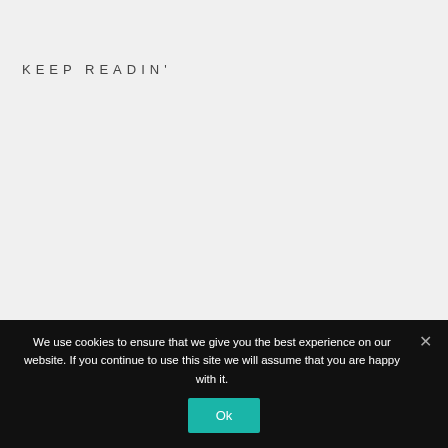KEEP READIN'
We use cookies to ensure that we give you the best experience on our website. If you continue to use this site we will assume that you are happy with it.